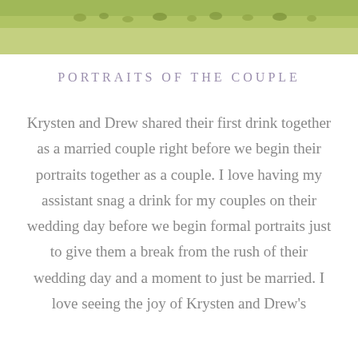[Figure (photo): Top portion of an outdoor photo showing green grass with what appears to be people or animals in the distance]
PORTRAITS OF THE COUPLE
Krysten and Drew shared their first drink together as a married couple right before we begin their portraits together as a couple. I love having my assistant snag a drink for my couples on their wedding day before we begin formal portraits just to give them a break from the rush of their wedding day and a moment to just be married. I love seeing the joy of Krysten and Drew's